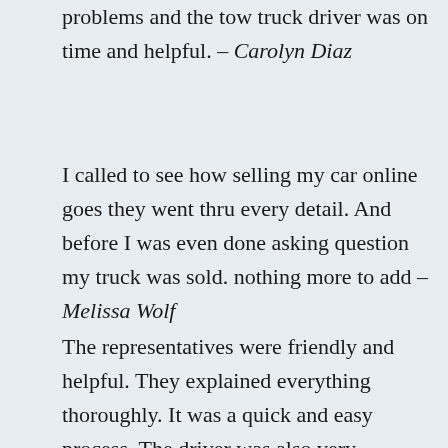problems and the tow truck driver was on time and helpful. – Carolyn Diaz
I called to see how selling my car online goes they went thru every detail. And before I was even done asking question my truck was sold. nothing more to add – Melissa Wolf
The representatives were friendly and helpful. They explained everything thoroughly. It was a quick and easy process. The driver was also very friendly, helpful and kept me updated on his — Tony H...